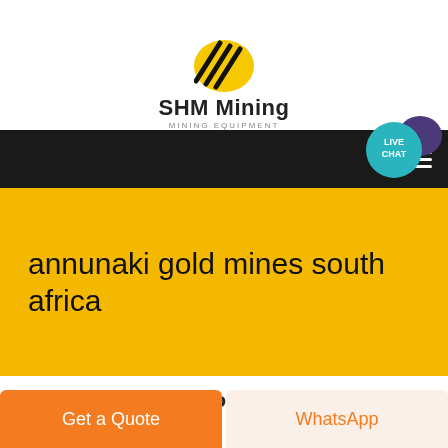[Figure (logo): SHM Mining logo: yellow circle with black diagonal stripe lines, bold text 'SHM Mining' and smaller 'MINING EQUIPMENT' subtitle below]
[Figure (screenshot): Dark navigation bar with hamburger menu icon on the right]
[Figure (other): Teal circular live chat button labeled 'LIVE CHAT' with dark purple speech bubble overlay, positioned at top right]
annunaki gold mines south africa
We package the products with best
Get a Quote
WhatsApp